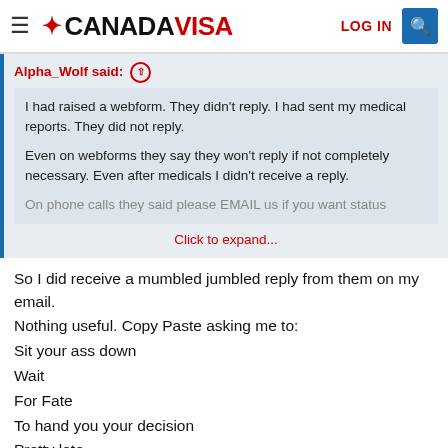CANADA VISA — LOG IN
Alpha_Wolf said: ↑

I had raised a webform. They didn't reply. I had sent my medical reports. They did not reply.

Even on webforms they say they won't reply if not completely necessary. Even after medicals I didn't receive a reply.

On phone calls they said please EMAIL us if you want status

Click to expand...
So I did receive a mumbled jumbled reply from them on my email. Nothing useful. Copy Paste asking me to:
Sit your ass down
Wait
For Fate
To hand you your decision
Pretty late...

La la la la la. *Laughs in JOKER*